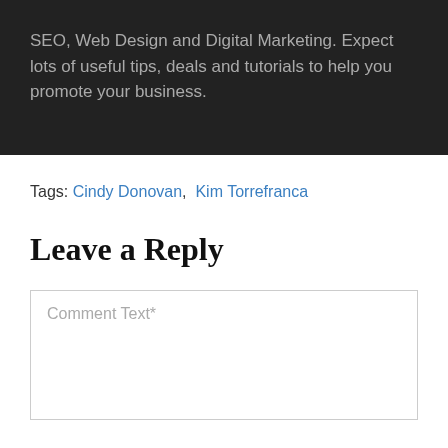SEO, Web Design and Digital Marketing. Expect lots of useful tips, deals and tutorials to help you promote your business.
Tags: Cindy Donovan, Kim Torrefranca
Leave a Reply
Comment Text*